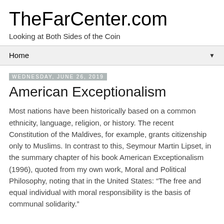TheFarCenter.com
Looking at Both Sides of the Coin
Home
Wednesday, June 26, 2019
American Exceptionalism
Most nations have been historically based on a common ethnicity, language, religion, or history. The recent Constitution of the Maldives, for example, grants citizenship only to Muslims. In contrast to this, Seymour Martin Lipset, in the summary chapter of his book American Exceptionalism (1996), quoted from my own work, Moral and Political Philosophy, noting that in the United States: “The free and equal individual with moral responsibility is the basis of communal solidarity.”